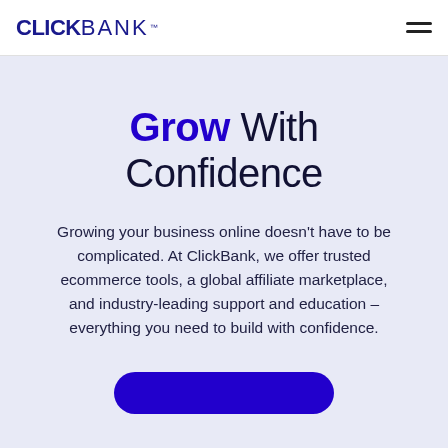CLICKBANK™
Grow With Confidence
Growing your business online doesn't have to be complicated. At ClickBank, we offer trusted ecommerce tools, a global affiliate marketplace, and industry-leading support and education – everything you need to build with confidence.